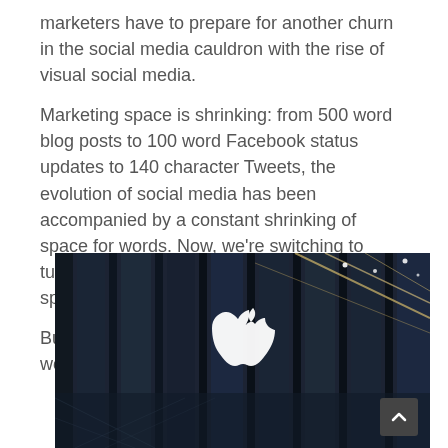marketers have to prepare for another churn in the social media cauldron with the rise of visual social media.
Marketing space is shrinking: from 500 word blog posts to 100 word Facebook status updates to 140 character Tweets, the evolution of social media has been accompanied by a constant shrinking of space for words. Now, we’re switching to tumblogs and Pinterest, reducing narrative space even further to just an image.
But, as they say, a picture speaks a thousand words.
[Figure (photo): Exterior of an Apple Store featuring the iconic Apple logo on a glass facade with ceiling lights reflected in the glass panels, taken from a low angle at night or dusk.]